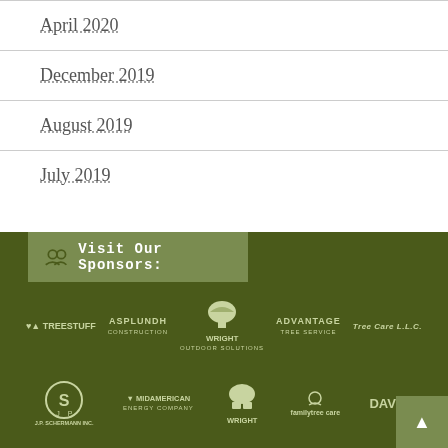April 2020
December 2019
August 2019
July 2019
Visit Our Sponsors:
[Figure (logo): Sponsors logos: TreeStuff, Asplundh Construction, Wright Outdoor Solutions, Advantage Tree Service, Tree Care LLC, JP Schermann Inc, MidAmerican Energy Company, Wright (tree company), familytree care, Davey]